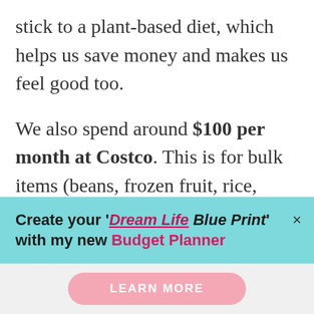stick to a plant-based diet, which helps us save money and makes us feel good too.
We also spend around $100 per month at Costco. This is for bulk items (beans, frozen fruit, rice, quinoa, protein powder) and household supplies (toilet paper, paper towels, dish soap, laundry detergent). Here are some
Create your 'Dream Life Blue Print' with my new Budget Planner
LEARN MORE